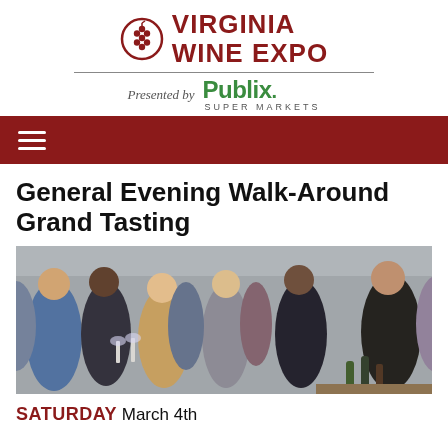Virginia Wine Expo — Presented by Publix Super Markets
[Figure (logo): Virginia Wine Expo logo with grape cluster icon and red text, and Publix Super Markets presented by logo in green]
General Evening Walk-Around Grand Tasting
[Figure (photo): Crowd of people at a wine tasting event, holding wine glasses and conversing with event staff]
SATURDAY March 4th